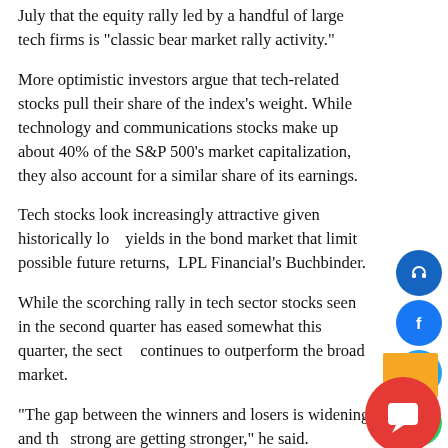July that the equity rally led by a handful of large tech firms is "classic bear market rally activity."
More optimistic investors argue that tech-related stocks pull their share of the index's weight. While technology and communications stocks make up about 40% of the S&P 500's market capitalization, they also account for a similar share of its earnings.
Tech stocks look increasingly attractive given historically low yields in the bond market that limit possible future returns, LPL Financial's Buchbinder.
While the scorching rally in tech sector stocks seen in the second quarter has eased somewhat this quarter, the sector continues to outperform the broad market.
"The gap between the winners and losers is widening and the strong are getting stronger," he said.
Fair share
Technology and Communication Services sectors make up 41% and 39% of S&P 500 market capitalization and earnings, respectively